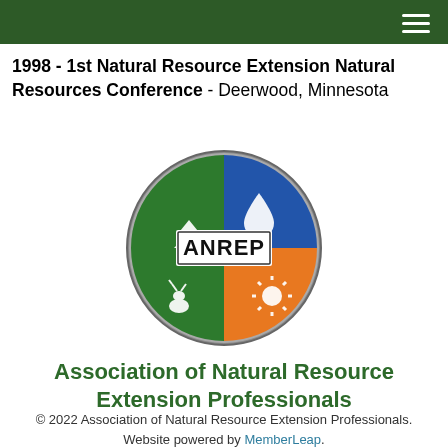≡
1998 - 1st Natural Resource Extension Natural Resources Conference - Deerwood, Minnesota
[Figure (logo): ANREP circular logo with four quadrants: green (forest/trees), blue (water drop), orange (sun), green (deer), blue (fish), orange (flame). Center rectangle reads ANREP in bold black text.]
Association of Natural Resource Extension Professionals
© 2022 Association of Natural Resource Extension Professionals. Website powered by MemberLeap.